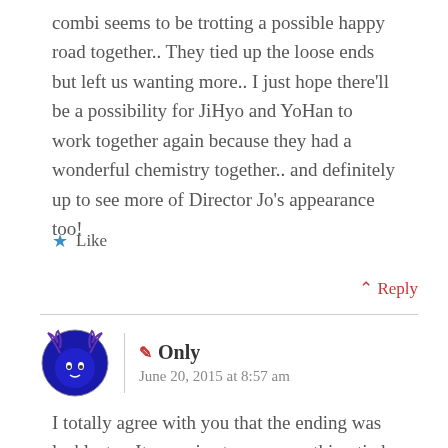combi seems to be trotting a possible happy road together.. They tied up the loose ends but left us wanting more.. I just hope there'll be a possibility for JiHyo and YoHan to work together again because they had a wonderful chemistry together.. and definitely up to see more of Director Jo's appearance too!
★ Like
↑ Reply
✏ Only
June 20, 2015 at 8:57 am
I totally agree with you that the ending was lacklustre. It was nice to see everything tied up this way, but it left a lot of questions. I'd love